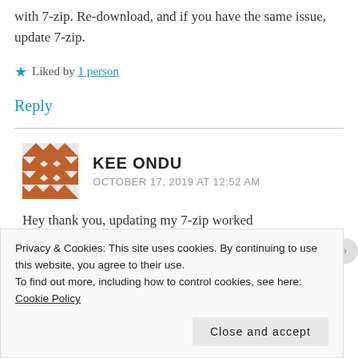with 7-zip. Re-download, and if you have the same issue, update 7-zip.
★ Liked by 1 person
Reply
KEE ONDU
OCTOBER 17, 2019 AT 12:52 AM
Hey thank you, updating my 7-zip worked
Privacy & Cookies: This site uses cookies. By continuing to use this website, you agree to their use.
To find out more, including how to control cookies, see here: Cookie Policy
Close and accept